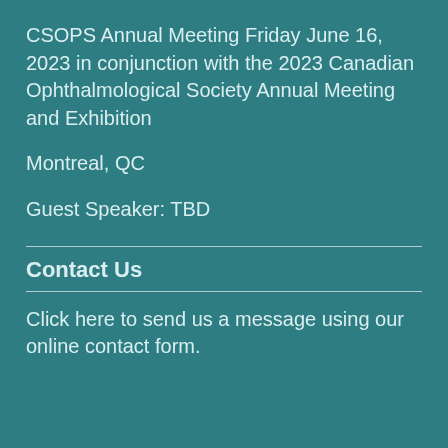CSOPS Annual Meeting Friday June 16, 2023 in conjunction with the 2023 Canadian Ophthalmological Society Annual Meeting and Exhibition
Montreal, QC
Guest Speaker: TBD
Contact Us
Click here to send us a message using our online contact form.